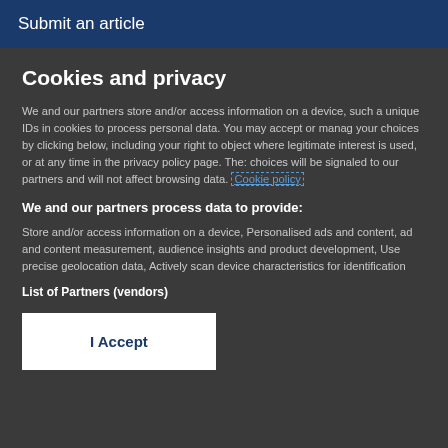Submit an article
Cookies and privacy
We and our partners store and/or access information on a device, such as unique IDs in cookies to process personal data. You may accept or manage your choices by clicking below, including your right to object where legitimate interest is used, or at any time in the privacy policy page. These choices will be signaled to our partners and will not affect browsing data. Cookie policy
We and our partners process data to provide:
Store and/or access information on a device, Personalised ads and content, ad and content measurement, audience insights and product development, Use precise geolocation data, Actively scan device characteristics for identification
List of Partners (vendors)
I Accept